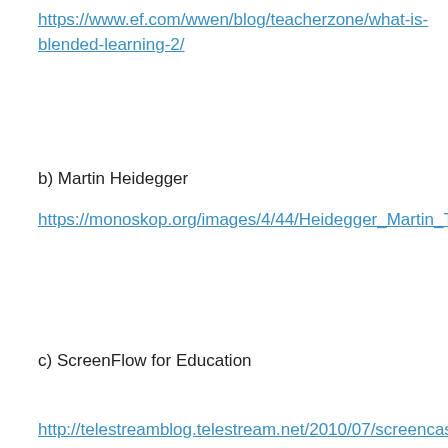https://www.ef.com/wwen/blog/teacherzone/what-is-blended-learning-2/
b) Martin Heidegger
https://monoskop.org/images/4/44/Heidegger_Martin_The_Question_Concerning_Technology_and_Other_Essays.pdf
c) ScreenFlow for Education
http://telestreamblog.telestream.net/2010/07/screencasts-